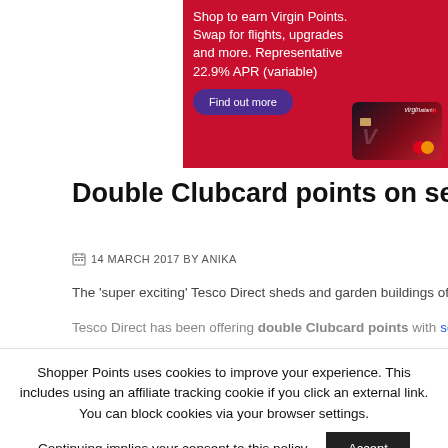[Figure (other): Virgin Atlantic credit card advertisement banner on red background. Text reads 'Shop to earn Virgin Points. Swap for flights, upgrades and more. Representative 22.9% APR (variable)' with a 'Find out more' purple button and an image of a dark red Virgin Atlantic Mastercard credit card.]
Double Clubcard points on selected sheds and ga
14 MARCH 2017 BY ANIKA
The 'super exciting' Tesco Direct sheds and garden buildings offer has re
Tesco Direct has been offering double Clubcard points with selected sh
Shopper Points uses cookies to improve your experience. This includes using an affiliate tracking cookie if you click an external link. You can block cookies via your browser settings.

Continuing implies your consent to this policy.

Accept

Reject  Read More